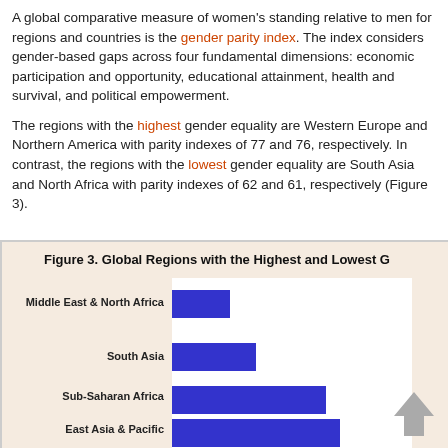A global comparative measure of women's standing relative to men for regions and countries is the gender parity index. The index considers gender-based gaps across four fundamental dimensions: economic participation and opportunity, educational attainment, health and survival, and political empowerment.
The regions with the highest gender equality are Western Europe and Northern America with parity indexes of 77 and 76, respectively. In contrast, the regions with the lowest gender equality are South Asia and Middle East and North Africa with parity indexes of 62 and 61, respectively (Figure 3).
[Figure (bar-chart): Figure 3. Global Regions with the Highest and Lowest Gender Parity]